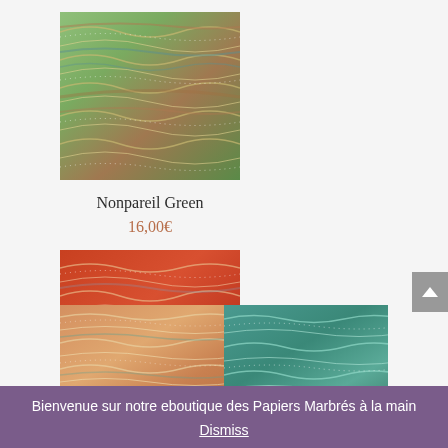[Figure (illustration): Nonpareil Green marbled paper texture with wavy green, teal, and brown patterns]
Nonpareil Green
16,00€
[Figure (illustration): Nonpareil Red marbled paper texture with wavy red and orange patterns]
Nonpareil Red
16,00€
[Figure (illustration): Partial view of orange/peach marbled paper texture]
[Figure (illustration): Partial view of teal/green marbled paper texture]
Bienvenue sur notre eboutique des Papiers Marbrés à la main
Dismiss